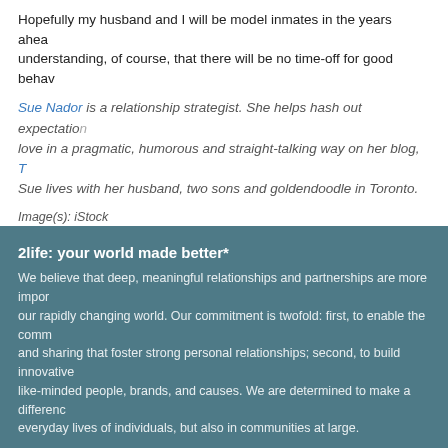Hopefully my husband and I will be model inmates in the years ahead, understanding, of course, that there will be no time-off for good behav...
Sue Nador is a relationship strategist. She helps hash out expectations around love in a pragmatic, humorous and straight-talking way on her blog, T... Sue lives with her husband, two sons and goldendoodle in Toronto.
Image(s): iStock
FILED UNDER: ANNIVERSARY, MARRIAGE
< Is The Secret To A Happy Relationship Really This Simple?
2life: your world made better*
We believe that deep, meaningful relationships and partnerships are more important in our rapidly changing world. Our commitment is twofold: first, to enable the comm... and sharing that foster strong personal relationships; second, to build innovative ... like-minded people, brands, and causes. We are determined to make a difference ... everyday lives of individuals, but also in communities at large.